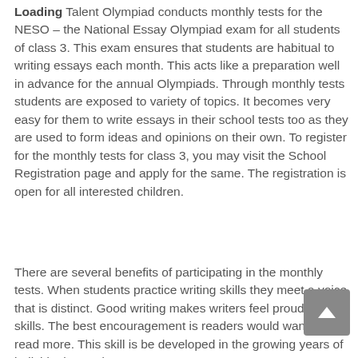Loading Talent Olympiad conducts monthly tests for the NESO – the National Essay Olympiad exam for all students of class 3. This exam ensures that students are habitual to writing essays each month. This acts like a preparation well in advance for the annual Olympiads. Through monthly tests students are exposed to variety of topics. It becomes very easy for them to write essays in their school tests too as they are used to form ideas and opinions on their own. To register for the monthly tests for class 3, you may visit the School Registration page and apply for the same. The registration is open for all interested children.
There are several benefits of participating in the monthly tests. When students practice writing skills they meet a voice that is distinct. Good writing makes writers feel proud of their skills. The best encouragement is readers would want to read more. This skill is best developed in the growing years of individuals. Students